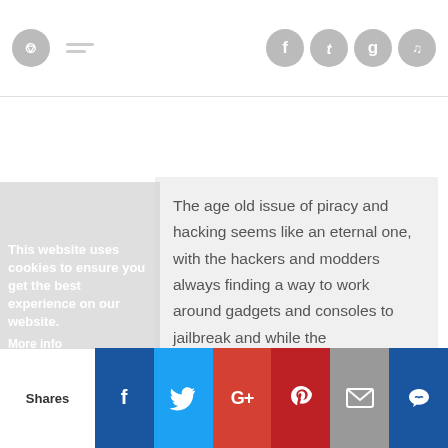Social sharing toolbar with icons for Facebook, Twitter, Google+, StumbleUpon
The age old issue of piracy and hacking seems like an eternal one, with the hackers and modders always finding a way to work around gadgets and consoles to jailbreak and while the manufacturers always try a new way to keep the jailbreakers and hackers away.
This website uses cookies to ensure you get the best experience on our website. More info
Shares | Facebook | Twitter | Google+ | Pinterest | Email | Crown